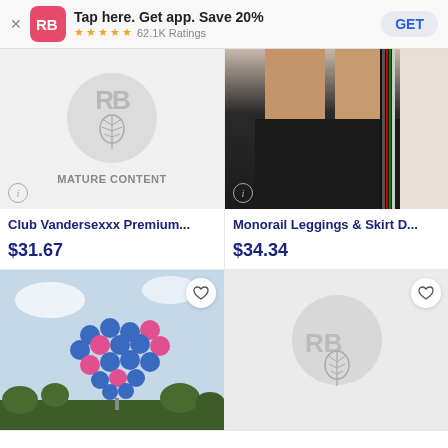[Figure (screenshot): Redbubble app banner: RB logo icon, 'Tap here. Get app. Save 20%', 5-star rating, 62.1K Ratings, GET button]
[Figure (photo): Mature content placeholder with RB logo and leaf icon over grey circle on light background, with info icon and MATURE CONTENT label]
Club Vandersexxx Premium...
$31.67
[Figure (photo): Black mini skirt with vertical stripe detail worn by model, info icon bottom left]
Monorail Leggings & Skirt D...
$34.34
[Figure (photo): Colorful blue and pink balloon sculpture outdoors against sky, heart/wishlist button top right]
[Figure (illustration): Redbubble mature content placeholder with RB logo circle and leaf drawing, heart/wishlist button top right]